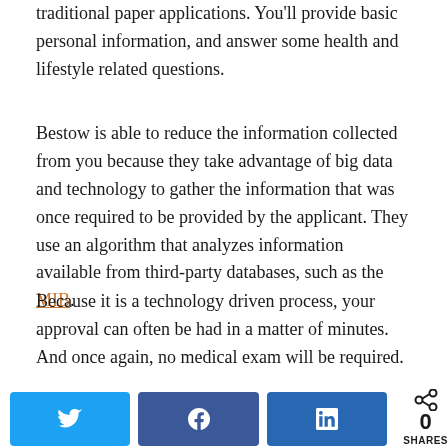traditional paper applications. You'll provide basic personal information, and answer some health and lifestyle related questions.
Bestow is able to reduce the information collected from you because they take advantage of big data and technology to gather the information that was once required to be provided by the applicant. They use an algorithm that analyzes information available from third-party databases, such as the MIB.
Because it is a technology driven process, your approval can often be had in a matter of minutes. And once again, no medical exam will be required.
Your approval will give you the premium rate. You'll then be able to...